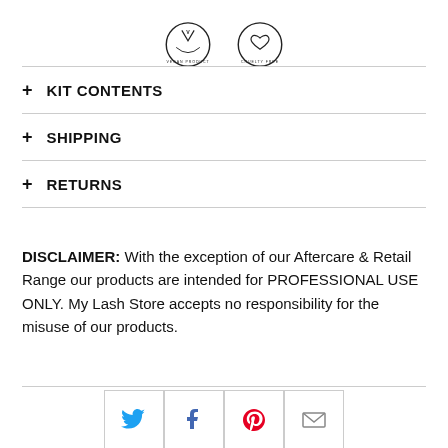[Figure (illustration): Two circular badge icons: 'VEGAN PRODUCT' and 'CRUELTY FREE' with decorative borders]
+ KIT CONTENTS
+ SHIPPING
+ RETURNS
DISCLAIMER: With the exception of our Aftercare & Retail Range our products are intended for PROFESSIONAL USE ONLY. My Lash Store accepts no responsibility for the misuse of our products.
[Figure (infographic): Social sharing icons for Twitter, Facebook, Pinterest, and Email in bordered square buttons]